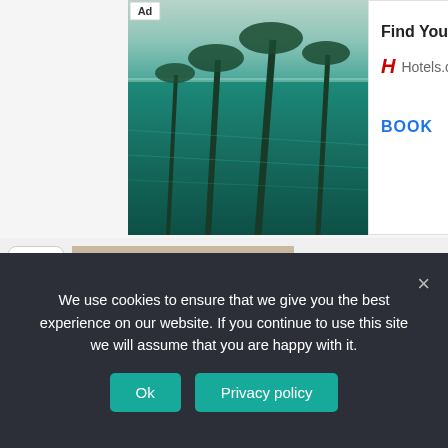[Figure (screenshot): Hotels.com advertisement banner showing an infinity pool with palm trees. Contains 'Ad' label, 'Find Your Match' text, Hotels.com logo, and 'BOOK' call to action button.]
[Figure (photo): Partial thumbnail image strip with a scroll-up chevron button on the left and a partial photo (appears to be a beach/nature scene) on the right.]
[Figure (other): Yellow/cream colored advertisement placeholder area.]
We use cookies to ensure that we give you the best experience on our website. If you continue to use this site we will assume that you are happy with it.
Ok
Privacy policy